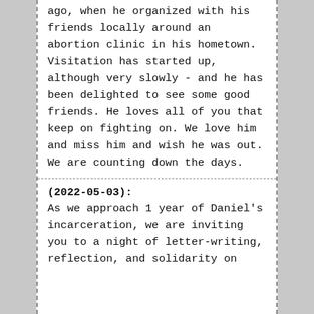ago, when he organized with his friends locally around an abortion clinic in his hometown. Visitation has started up, although very slowly - and he has been delighted to see some good friends. He loves all of you that keep on fighting on. We love him and miss him and wish he was out. We are counting down the days.
(2022-05-03): As we approach 1 year of Daniel's incarceration, we are inviting you to a night of letter-writing, reflection, and solidarity on